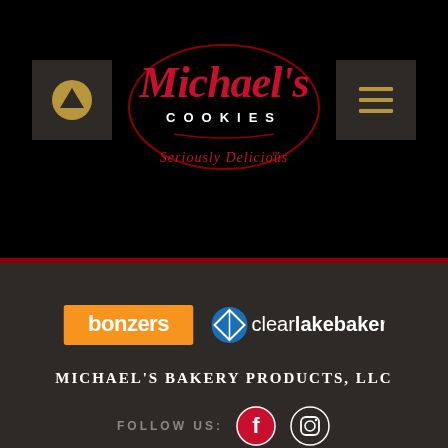[Figure (logo): Michael's Cookies logo with oval border and 'Seriously Delicious' tagline, centered in black header area]
[Figure (logo): Bonzer's logo (orange background with white text) and Clear Lake Bakery logo (blue circle icon with text) side by side]
MICHAEL'S BAKERY PRODUCTS, LLC
FOLLOW US:
[Figure (illustration): Facebook and Instagram social media icons (circular, white outline)]